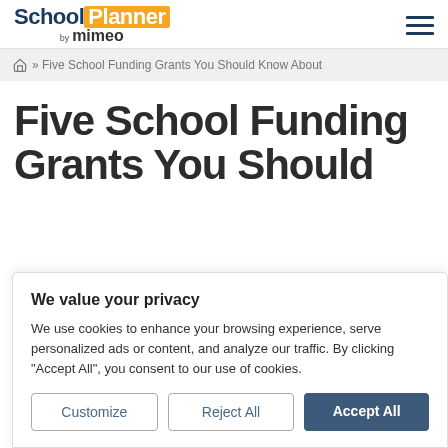School Planner by mimeo — navigation header with hamburger menu
» Five School Funding Grants You Should Know About
Five School Funding Grants You Should
We value your privacy
We use cookies to enhance your browsing experience, serve personalized ads or content, and analyze our traffic. By clicking "Accept All", you consent to our use of cookies.
Customize | Reject All | Accept All